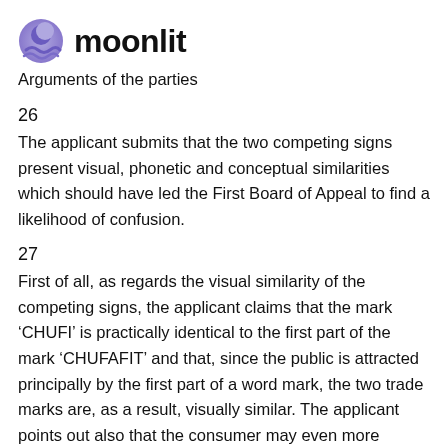moonlit
Arguments of the parties
26
The applicant submits that the two competing signs present visual, phonetic and conceptual similarities which should have led the First Board of Appeal to find a likelihood of confusion.
27
First of all, as regards the visual similarity of the competing signs, the applicant claims that the mark ‘CHUFI’ is practically identical to the first part of the mark ‘CHUFAFIT’ and that, since the public is attracted principally by the first part of a word mark, the two trade marks are, as a result, visually similar. The applicant points out also that the consumer may even more readily associate the origin of the two competing marks with the